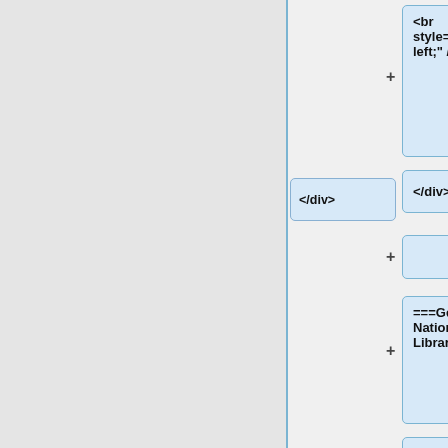[Figure (screenshot): Diff/merge tool view showing two columns of content blocks. Left column has a '</div>' block. Right column has highlighted blocks: '<br style="clear: left;" />', '</div>', an empty block, '===German National Library===', a text block about the German National Library publishing standard data as public domain using the CC0 public domain dedication tool, and a partial block starting with '*http://de.creati']
<br style="clear: left;" />
</div>
</div>
===German National Library===
The German National Library has begun publishing its standard data as public domain using the CC0 public domain dedication tool.
*http://de.creati